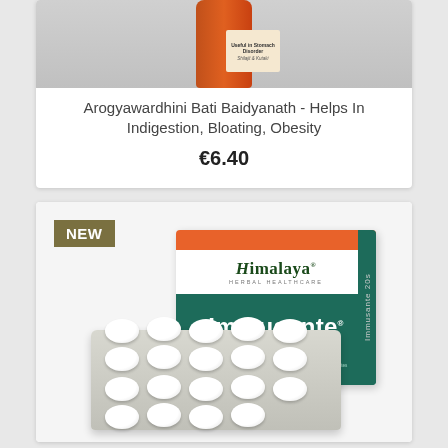[Figure (photo): Product image of Arogyawardhini Bati Baidyanath bottle with orange label, partially visible at top of first card]
Arogyawardhini Bati Baidyanath - Helps In Indigestion, Bloating, Obesity
€6.40
[Figure (photo): Himalaya Immusante tablets product image showing box and blister pack of white tablets]
NEW